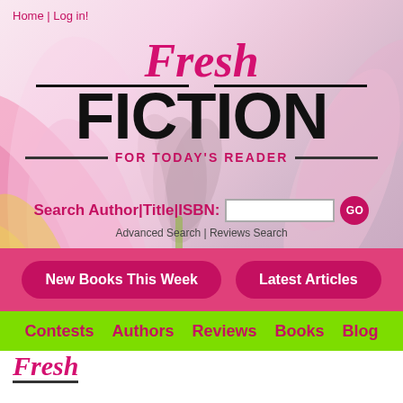Home | Log in!
Fresh FICTION FOR TODAY'S READER
Search Author|Title|ISBN: [input] GO
Advanced Search | Reviews Search
New Books This Week
Latest Articles
Contests   Authors   Reviews   Books   Blog
[Figure (logo): Fresh Fiction logo with cursive Fresh text above FICTION in bold black]
Nicola Cornick